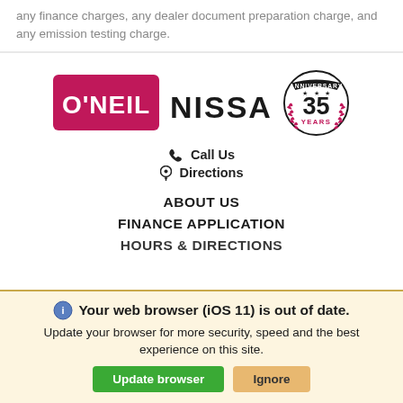any finance charges, any dealer document preparation charge, and any emission testing charge.
[Figure (logo): O'Neil Nissan logo with red box containing O'NEIL text and NISSAN text, plus 35th anniversary badge with laurel wreath]
Call Us
Directions
ABOUT US
FINANCE APPLICATION
HOURS & DIRECTIONS
Your web browser (iOS 11) is out of date. Update your browser for more security, speed and the best experience on this site.